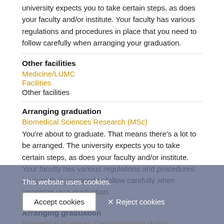university expects you to take certain steps, as does your faculty and/or institute. Your faculty has various regulations and procedures in place that you need to follow carefully when arranging your graduation.
Other facilities
Medicine/LUMC
Facilities
Other facilities
Arranging graduation
Biomedical Sciences Research (MSc)
You're about to graduate. That means there's a lot to be arranged. The university expects you to take certain steps, as does your faculty and/or institute. Your faculty has various regulations and procedures in place that you need to follow carefully when arranging your graduation.
Arranging graduation
Biomedical Sciences Communication (MSc)
You're about to graduate. That means there's a lot to be arranged. The university expects you to take certain steps, as does your faculty and/or institute. Your faculty has various regulations and procedures in place that you need to follow carefully when arranging your graduation.
This website uses cookies.